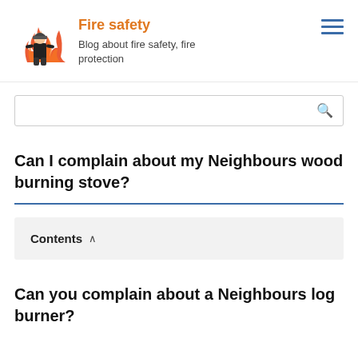Fire safety — Blog about fire safety, fire protection
[Figure (logo): Fire safety blog logo with firefighter and flames illustration]
Can I complain about my Neighbours wood burning stove?
Contents
Can you complain about a Neighbours log burner?